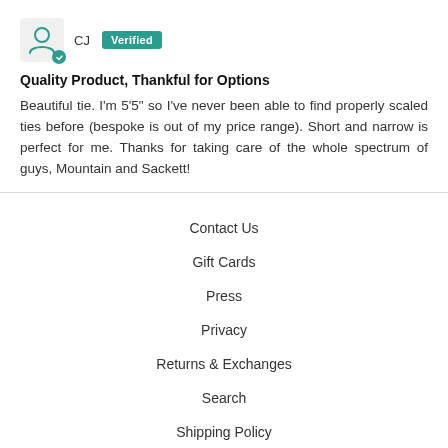[Figure (illustration): User avatar icon with teal checkmark badge]
CJ  Verified
Quality Product, Thankful for Options
Beautiful tie. I'm 5'5" so I've never been able to find properly scaled ties before (bespoke is out of my price range). Short and narrow is perfect for me. Thanks for taking care of the whole spectrum of guys, Mountain and Sackett!
Contact Us
Gift Cards
Press
Privacy
Returns & Exchanges
Search
Shipping Policy